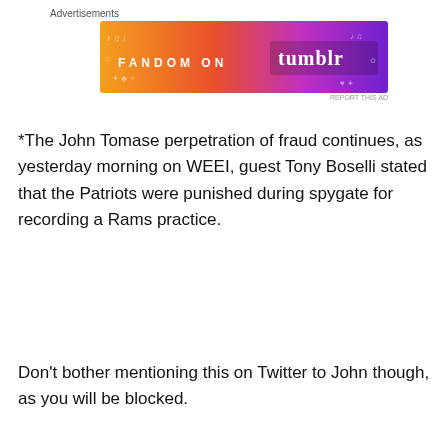[Figure (other): Fandom on Tumblr advertisement banner with orange-to-purple gradient background and decorative music/doodle elements]
*The John Tomase perpetration of fraud continues, as yesterday morning on WEEI, guest Tony Boselli stated that the Patriots were punished during spygate for recording a Rams practice.
Don't bother mentioning this on Twitter to John though, as you will be blocked.